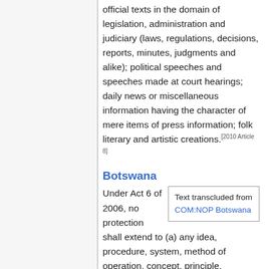official texts in the domain of legislation, administration and judiciary (laws, regulations, decisions, reports, minutes, judgments and alike); political speeches and speeches made at court hearings; daily news or miscellaneous information having the character of mere items of press information; folk literary and artistic creations.[2010 Article 8]
Botswana
Text transcluded from COM:NOP Botswana
Under Act 6 of 2006, no protection shall extend to (a) any idea, procedure, system, method of operation, concept, principle, discovery or mere data, even if expressed, described, explained, illustrated or embodied in a work; (b) any official text of a legislative, administrative or legal nature, as well as any official translation